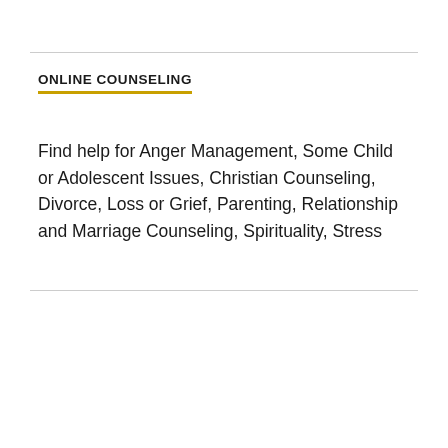ONLINE COUNSELING
Find help for Anger Management, Some Child or Adolescent Issues, Christian Counseling, Divorce, Loss or Grief, Parenting, Relationship and Marriage Counseling, Spirituality, Stress